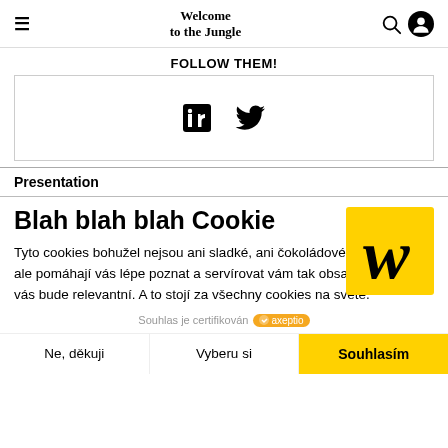Welcome to the Jungle
FOLLOW THEM!
[Figure (other): Social media icons: LinkedIn and Twitter inside a bordered box]
Presentation
Blah blah blah Cookie
Tyto cookies bohužel nejsou ani sladké, ani čokoládové. Zase nám ale pomáhají vás lépe poznat a servírovat vám tak obsah, který pro vás bude relevantní. A to stojí za všechny cookies na světě.
Souhlas je certifikován axeptio
Ne, děkuji | Vyberu si | Souhlasím